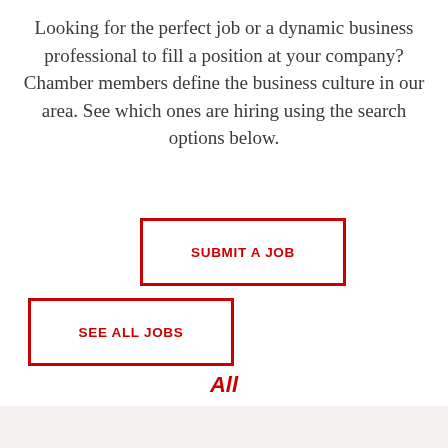Looking for the perfect job or a dynamic business professional to fill a position at your company? Chamber members define the business culture in our area. See which ones are hiring using the search options below.
SUBMIT A JOB
SEE ALL JOBS
All